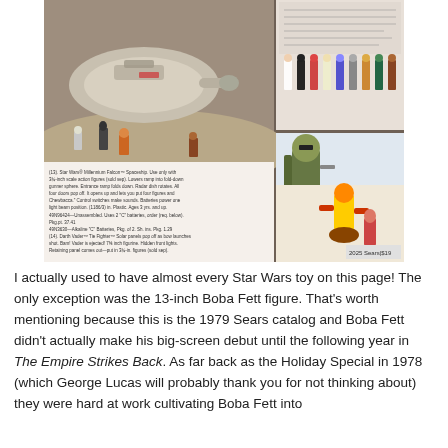[Figure (photo): 1979 Sears catalog page showing Star Wars toys including the Millennium Falcon playset, X-Wing Fighter, B-Wing Fighter, action figures lineup, Boba Fett 13-inch figure, and other Star Wars merchandise with prices.]
I actually used to have almost every Star Wars toy on this page! The only exception was the 13-inch Boba Fett figure. That's worth mentioning because this is the 1979 Sears catalog and Boba Fett didn't actually make his big-screen debut until the following year in The Empire Strikes Back. As far back as the Holiday Special in 1978 (which George Lucas will probably thank you for not thinking about) they were hard at work cultivating Boba Fett into